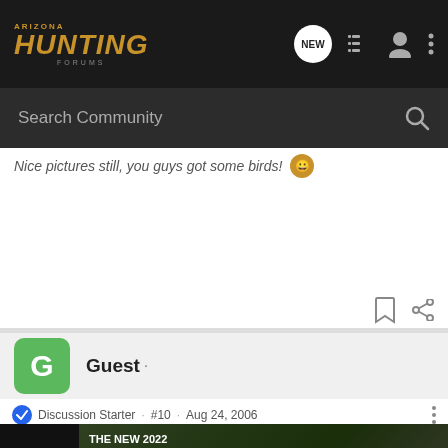Arizona Hunting Forums - Navigation bar with Search Community
Nice pictures still, you guys got some birds!
Guest · Discussion Starter · #10 · Aug 24, 2006
1 week
[Figure (photo): Chevrolet Silverado 2022 advertisement banner with truck image and Explore button]